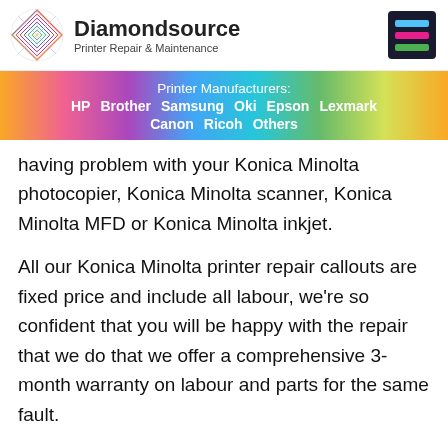[Figure (logo): Diamondsource Printer Repair & Maintenance logo with rainbow diamond graphic and hamburger menu icon]
Printer Manufacturers: HP  Brother  Samsung  Oki  Epson  Lexmark  Canon  Ricoh  Others
having problem with your Konica Minolta photocopier, Konica Minolta scanner, Konica Minolta MFD or Konica Minolta inkjet.
All our Konica Minolta printer repair callouts are fixed price and include all labour, we're so confident that you will be happy with the repair that we do that we offer a comprehensive 3-month warranty on labour and parts for the same fault.
Get in touch today to see what we can do for your Konica Minolta printer.